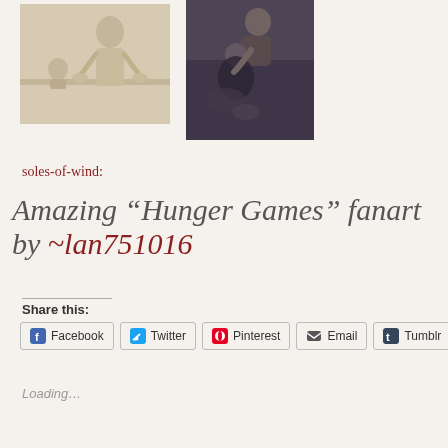[Figure (illustration): Pencil sketch illustration showing a standing figure (young man, shirtless) with a smaller figure (young girl) behind a table, sepia/tan tones]
[Figure (illustration): Digital color painting of two figures, a man and a woman, sitting together in dark tones]
soles-of-wind:
Amazing “Hunger Games” fanart by ∼lan751016
Share this:
Facebook
Twitter
Pinterest
Email
Tumblr
Loading…